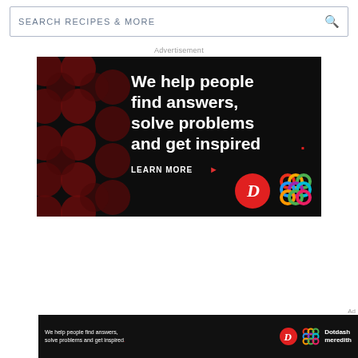SEARCH RECIPES & MORE
Advertisement
[Figure (screenshot): Dotdash Meredith advertisement on black background with dark red circle pattern. Text reads: 'We help people find answers, solve problems and get inspired.' with a red period. 'LEARN MORE' with red arrow. Dotdash D logo in red circle and colorful Meredith knot logo.]
[Figure (screenshot): Bottom banner ad: 'We help people find answers, solve problems and get inspired.' with Dotdash D logo, colorful Meredith knot, and 'Dotdash meredith' text on black background.]
Ad